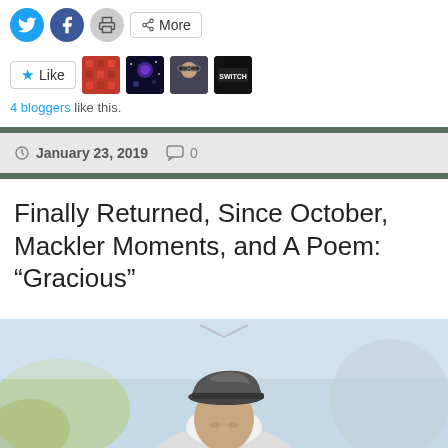[Figure (screenshot): Social share buttons: Twitter, Facebook, Print, and More]
[Figure (screenshot): Like button with star icon, and four blogger avatar images]
4 bloggers like this.
January 23, 2019   0
Finally Returned, Since October, Mackler Moments, and A Poem: “Gracious”
[Figure (photo): Person wearing a grey flat cap, white hair visible, outdoor setting with blurred background]